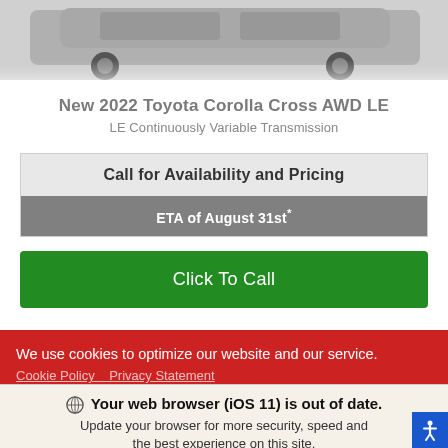[Figure (photo): Partial view of a car (Toyota Corolla Cross) shown from front, gray/silver color, cropped at top of page]
New 2022 Toyota Corolla Cross AWD LE
LE Continuously Variable Transmission
Call for Availability and Pricing
ETA of August 31st*
Click To Call
We use cookies to optimize our website and our service.
Cookie Policy   Privacy Statement
🌐 Your web browser (iOS 11) is out of date. Update your browser for more security, speed and the best experience on this site.
Update browser   Ignore